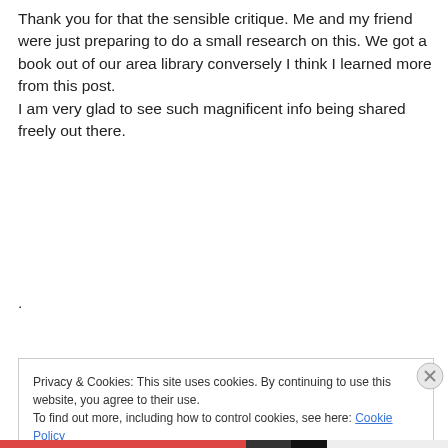Thank you for that the sensible critique. Me and my friend were just preparing to do a small research on this. We got a book out of our area library conversely I think I learned more from this post.
I am very glad to see such magnificent info being shared freely out there.

.
Log in to Reply
Privacy & Cookies: This site uses cookies. By continuing to use this website, you agree to their use.
To find out more, including how to control cookies, see here: Cookie Policy